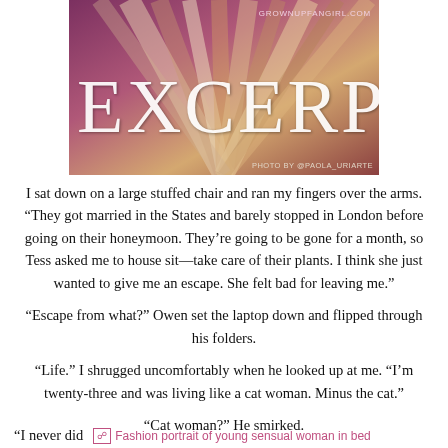[Figure (photo): Photo of stacked books fanned out, with pink/purple tones, overlaid with large text 'EXCERPT' in white, site URL 'GROWNUPFANGIRL.COM' top right, photo credit 'PHOTO BY @PAOLA_URIARTE' bottom right]
I sat down on a large stuffed chair and ran my fingers over the arms. “They got married in the States and barely stopped in London before going on their honeymoon. They’re going to be gone for a month, so Tess asked me to house sit—take care of their plants. I think she just wanted to give me an escape. She felt bad for leaving me.”
“Escape from what?” Owen set the laptop down and flipped through his folders.
“Life.” I shrugged uncomfortably when he looked up at me. “I’m twenty-three and was living like a cat woman. Minus the cat.”
“Cat woman?” He smirked.
“I never did
[Figure (photo): Broken/unloaded image placeholder labeled 'Fashion portrait of young sensual woman in bed']